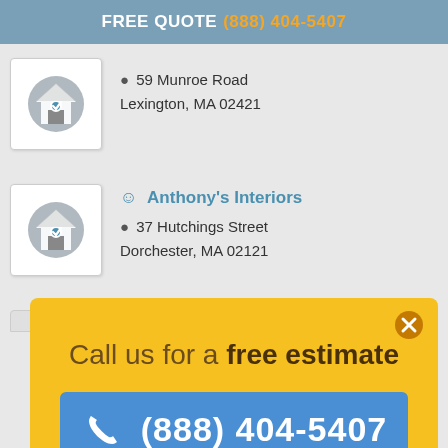FREE QUOTE (888) 404-5407
59 Munroe Road
Lexington, MA 02421
Anthony's Interiors
37 Hutchings Street
Dorchester, MA 02121
Call us for a free estimate
(888) 404-5407